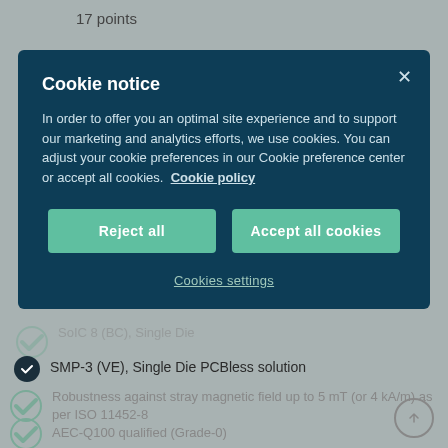17 points
[Figure (screenshot): Cookie notice modal dialog with dark teal background. Contains title 'Cookie notice', descriptive text about cookies and marketing/analytics, a close X button, two buttons ('Reject all' and 'Accept all cookies') in teal/mint color, and a 'Cookies settings' link at the bottom.]
SoIC 8 (BC), Single Die
SMP-3 (VE), Single Die PCBless solution
Robustness against stray magnetic field up to 5 mT (or 4 kA/m) as per ISO 11452-8
AEC-Q100 qualified (Grade-0)